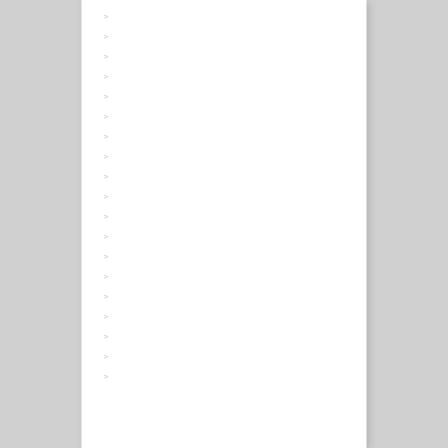▷ 한국어 텍스트
▷ 한국어 텍스트 항목
▷ 한국어 텍스트목록
▷ 한국어 텍스
▷ 한국어 텍스 항목
▷ 한국어 텍스 항목
▷ 한국어 텍스 항목 텍스트목
▷ 한국어 항목
▷ 한국어 항목
▷ 한국어 항목
▷ 한국어 텍스 텍스트목
▷ 한국어 텍스 항목
▷ 텍스트목록항목
▷ 텍스트목록항목 항
▷ 텍스트목록항목목
▷ 텍스트텍 목록
▷ 텍스트 목록
▷ 텍스트 목록
▷ 텍스트목목